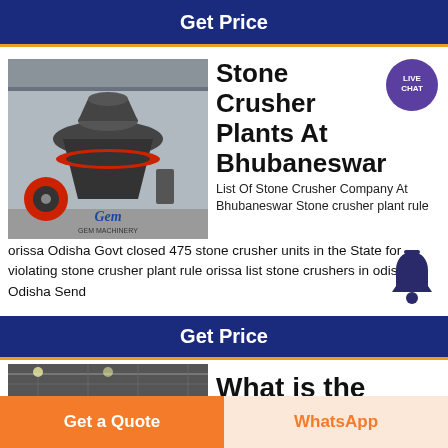Get Price
[Figure (photo): Stone crusher machine in industrial facility, branded with GEM Machinery logo]
Stone Crusher Plants At Bhubaneswar
[Figure (infographic): Live Chat badge bubble in purple]
List Of Stone Crusher Company At Bhubaneswar Stone crusher plant rule orissa Odisha Govt closed 475 stone crusher units in the State for violating stone crusher plant rule orissa list stone crushers in odisha Odisha Send
Get Price
[Figure (photo): Industrial building interior, grey toned image]
What is the
[Figure (infographic): Bell notification icon in dark blue]
Get a Quote
WhatsApp